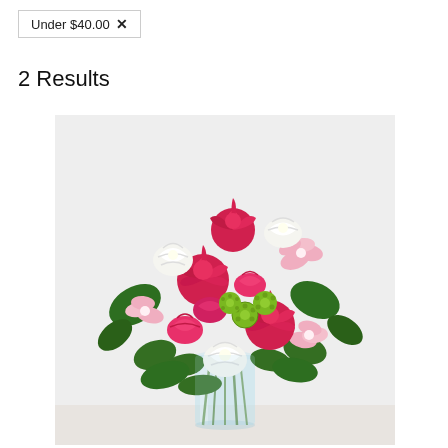Under $40.00 ✕
2 Results
[Figure (photo): A colorful floral bouquet in a glass vase featuring hot pink roses, white carnations, pink alstroemeria lilies, green button mums, and lush green foliage, displayed against a light grey background.]